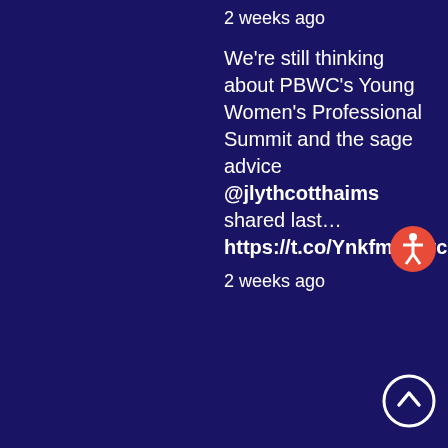2 weeks ago
We're still thinking about PBWC's Young Women's Professional Summit and the sage advice @jlythcotthaims shared last… https://t.co/YnkFmt6Bvc
2 weeks ago
[Figure (illustration): Orange circle accessibility icon button]
[Figure (illustration): White circle with upward arrow scroll-to-top button]